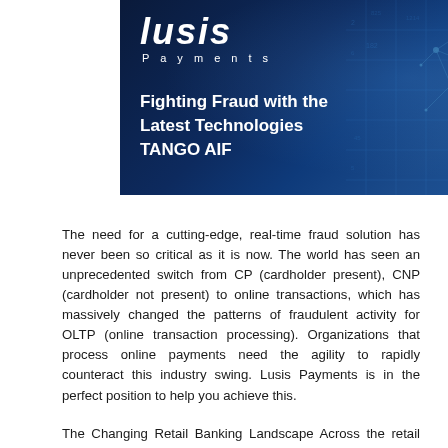[Figure (illustration): Lusis Payments banner with dark blue background, logo text 'lusis Payments', title 'Fighting Fraud with the Latest Technologies TANGO AIF', and a digital network graphic on the right side.]
The need for a cutting-edge, real-time fraud solution has never been so critical as it is now. The world has seen an unprecedented switch from CP (cardholder present), CNP (cardholder not present) to online transactions, which has massively changed the patterns of fraudulent activity for OLTP (online transaction processing). Organizations that process online payments need the agility to rapidly counteract this industry swing. Lusis Payments is in the perfect position to help you achieve this.
The Changing Retail Banking Landscape Across the retail banking sector, every acquiring and issuing payments environment must have the dexterity to manage all of these